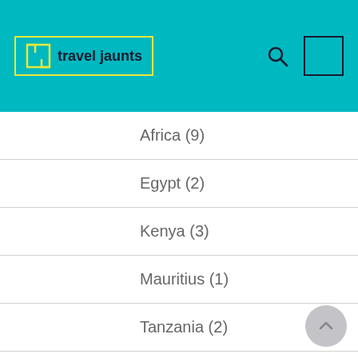travel jaunts
Africa (9)
Egypt (2)
Kenya (3)
Mauritius (1)
Tanzania (2)
Americas (9)
Asia (72)